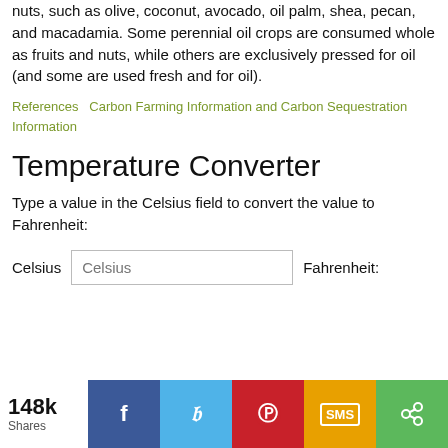nuts, such as olive, coconut, avocado, oil palm, shea, pecan, and macadamia. Some perennial oil crops are consumed whole as fruits and nuts, while others are exclusively pressed for oil (and some are used fresh and for oil).
References   Carbon Farming Information and Carbon Sequestration Information
Temperature Converter
Type a value in the Celsius field to convert the value to Fahrenheit:
Celsius  [Celsius input field]  Fahrenheit:
148k Shares [Facebook] [Twitter] [Pinterest] [SMS] [Share]